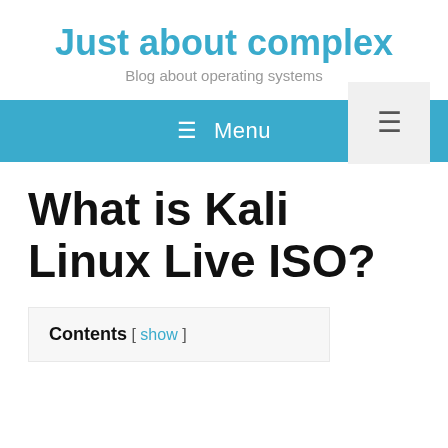Just about complex
Blog about operating systems
≡ Menu
What is Kali Linux Live ISO?
Contents [ show ]